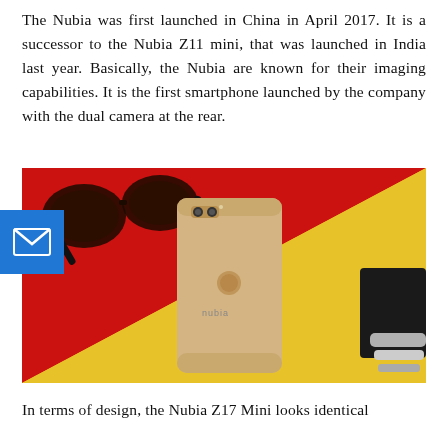The Nubia was first launched in China in April 2017. It is a successor to the Nubia Z11 mini, that was launched in India last year. Basically, the Nubia are known for their imaging capabilities. It is the first smartphone launched by the company with the dual camera at the rear.
[Figure (photo): Photo of a gold Nubia Z17 Mini smartphone from the rear, showing dual cameras and fingerprint sensor, placed on a red and yellow diagonal background with sunglasses and other accessories. A blue email icon overlaps the top-left corner of the image.]
In terms of design, the Nubia Z17 Mini looks identical